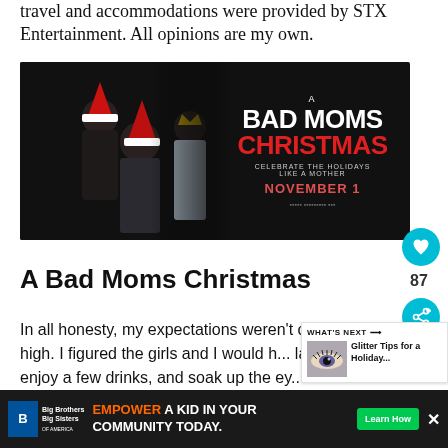travel and accommodations were provided by STX Entertainment. All opinions are my own.
[Figure (photo): Movie promotional banner for 'A Bad Moms Christmas' — dark background with characters in Christmas attire. Text reads: A BAD MOMS CHRISTMAS, CELEBRATE THE HOLIDAYS LIKE A MOTHER, NOVEMBER 1]
A Bad Moms Christmas
In all honesty, my expectations weren't crazy high. I figured the girls and I would have some laughs, enjoy a few drinks, and soak up the ex...
[Figure (photo): What's Next widget with eye makeup thumbnail — Glitter Tips for a Holiday...]
EMPOWER A KID IN YOUR COMMUNITY TODAY. Big Brothers Big Sisters of America. Learn How.